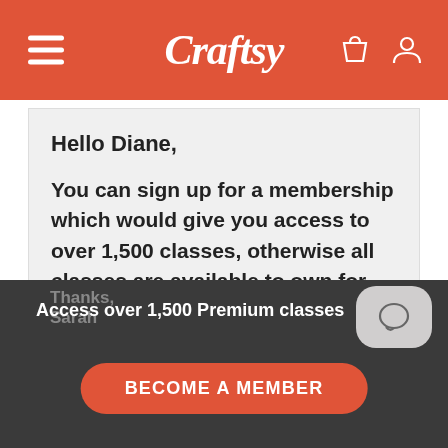Craftsy
Hello Diane,
You can sign up for a membership which would give you access to over 1,500 classes, otherwise all classes are available to own for purchase. There is a Get Access/Purchase To Own button on every class.
If you have any other questions, please email or call Customer Service.
Thanks, Sarah
Access over 1,500 Premium classes
BECOME A MEMBER